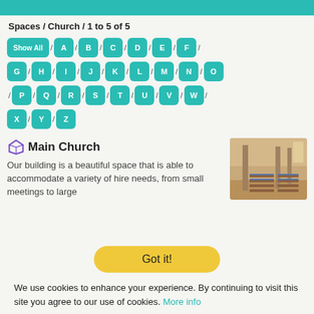Spaces / Church / 1 to 5 of 5
Show All / A / B / C / D / E / F / G / H / I / J / K / L / M / N / O / P / Q / R / S / T / U / V / W / X / Y / Z
Main Church
Our building is a beautiful space that is able to accommodate a variety of hire needs, from small meetings to large
[Figure (photo): Interior of a church showing rows of chairs/pews and stone columns]
Got it!
We use cookies to enhance your experience. By continuing to visit this site you agree to our use of cookies. More info